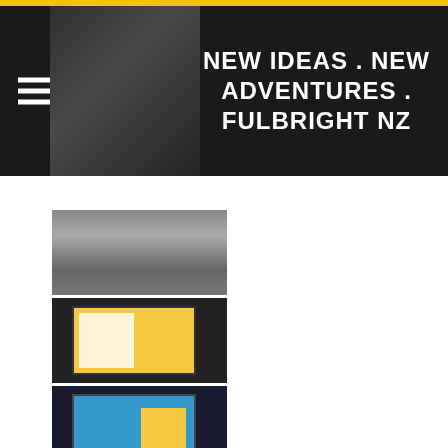NEW IDEAS . NEW ADVENTURES . FULBRIGHT NZ
[Figure (photo): Thumbnail image 1 - person at event]
[Figure (photo): Thumbnail image 2 - presentation slide with yellow background showing Fulbright NZ content on screen]
[Figure (photo): Thumbnail image 3 - presentation slide with blue background on screen]
[Figure (photo): Thumbnail image 4 - audience at event]
[Figure (photo): Thumbnail image 5 - teal and yellow presentation slide on screen]
[Figure (photo): Thumbnail image 6 - partially visible at bottom]